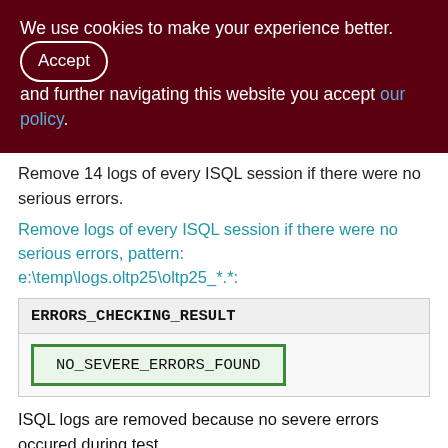We use cookies to make your experience better. By clicking and further navigating this website you accept our policy.
Remove 14 logs of every ISQL session if there were no serious errors.
Remove logs of every ISQL session if there were no serious errors, pattern: e:\temp\logs.oltp25\oltp25_*.*:
| ERRORS_CHECKING_RESULT |
| --- |
| NO_SEVERE_ERRORS_FOUND |
ISQL logs are removed because no severe errors occured during test.
2015-12-24 4:03:14.96 - end of report, text file:
e:\temp\logs.oltp25\oltp25_report.txt, html: